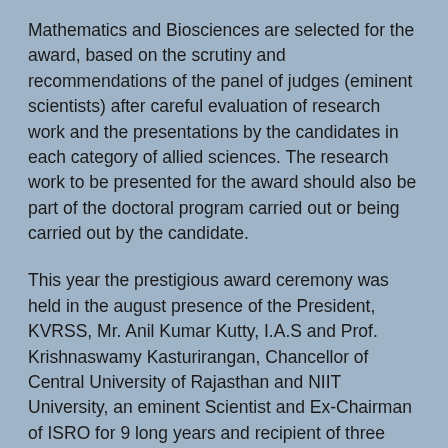Mathematics and Biosciences are selected for the award, based on the scrutiny and recommendations of the panel of judges (eminent scientists) after careful evaluation of research work and the presentations by the candidates in each category of allied sciences. The research work to be presented for the award should also be part of the doctoral program carried out or being carried out by the candidate.
This year the prestigious award ceremony was held in the august presence of the President, KVRSS, Mr. Anil Kumar Kutty, I.A.S and Prof. Krishnaswamy Kasturirangan, Chancellor of Central University of Rajasthan and NIIT University, an eminent Scientist and Ex-Chairman of ISRO for 9 long years and recipient of three highest civilian honors, The Padma Shri (1982), The Padma Bhushan (1992) and The